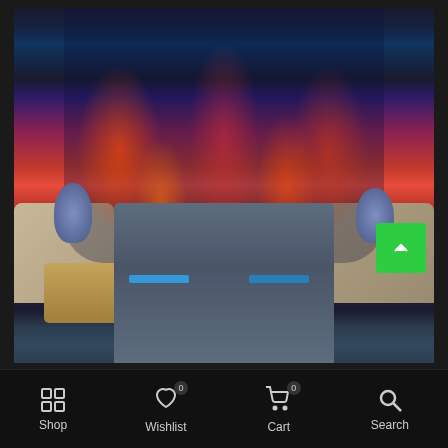[Figure (photo): Person wearing a colorful flame-print zip-up hoodie/jacket with blue latex gloves, gray cargo pants with blue stripes. Indoor setting with couch and coffee table visible in background.]
Shop   Wishlist 0   Cart 0   Search